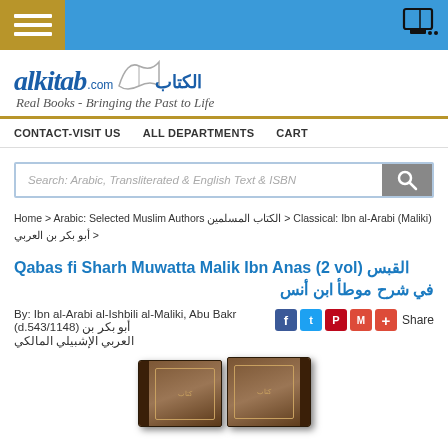alkitab.com navigation bar with menu and cart icons
[Figure (logo): alkitab.com logo with Arabic text الكتاب and tagline: Real Books - Bringing the Past to Life]
CONTACT-VISIT US   ALL DEPARTMENTS   CART
[Figure (screenshot): Search box with placeholder: Search: Arabic, Transliterated & English Text & ISBN]
Home > Arabic: Selected Muslim Authors الكتاب المسلمين > Classical: Ibn al-Arabi (Maliki) أبو بكر بن العربي >
Qabas fi Sharh Muwatta Malik Ibn Anas (2 vol) القبس في شرح موطأ ابن أنس
By: Ibn al-Arabi al-Ishbili al-Maliki, Abu Bakr (d.543/1148) أبو بكر بن العربي الإشبيلي المالكي
[Figure (photo): Two ornate dark brown hardcover books of Qabas fi Sharh Muwatta Malik Ibn Anas]